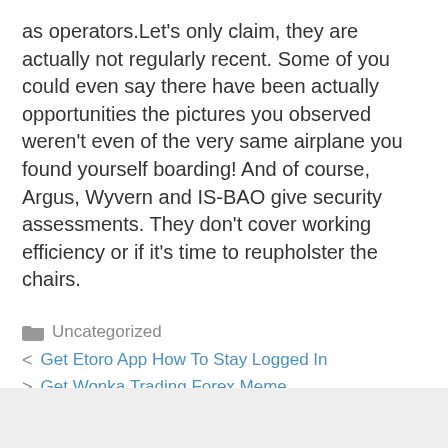as operators.Let's only claim, they are actually not regularly recent. Some of you could even say there have been actually opportunities the pictures you observed weren't even of the very same airplane you found yourself boarding! And of course, Argus, Wyvern and IS-BAO give security assessments. They don't cover working efficiency or if it's time to reupholster the chairs.
Uncategorized
Get Etoro App How To Stay Logged In
Get Wonka Trading Forex Meme